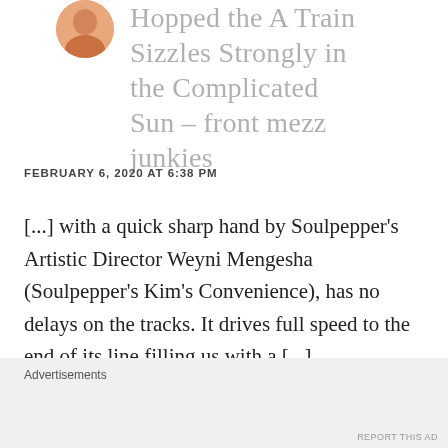[Figure (photo): Circular avatar photo, partially cropped at top of page]
Hopped the A Train Sizzles Strongly in the Complicated Sun – front mezz junkies
FEBRUARY 6, 2020 AT 6:38 PM
[...] with a quick sharp hand by Soulpepper's Artistic Director Weyni Mengesha (Soulpepper's Kim's Convenience), has no delays on the tracks. It drives full speed to the end of its line filling us with a [...]
Advertisements
REPORT THIS AD